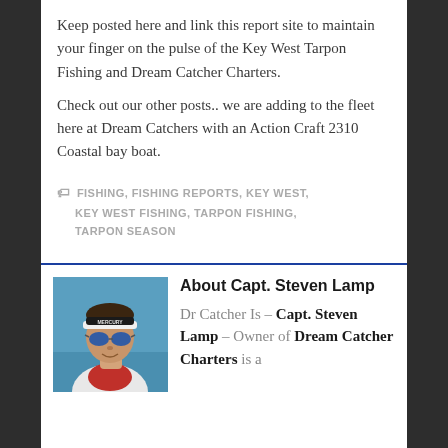Keep posted here and link this report site to maintain your finger on the pulse of the Key West Tarpon Fishing and Dream Catcher Charters.
Check out our other posts.. we are adding to the fleet here at Dream Catchers with an Action Craft 2310 Coastal bay boat.
FISHING, FISHING REPORTS, KEY WEST, KEY WEST FISHING, TARPON FISHING, TARPON SEASON
[Figure (photo): Headshot of Capt. Steven Lamp wearing sunglasses and a white shirt with red scarf, outdoors with blue sky background]
About Capt. Steven Lamp
Dr Catcher Is - Capt. Steven Lamp - Owner of Dream Catcher Charters is a